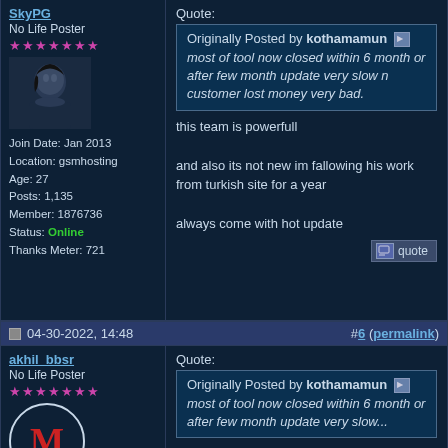SkyPG
No Life Poster
★★★★★★★
[Figure (photo): User avatar showing a dark anime character]
Join Date: Jan 2013
Location: gsmhosting
Age: 27
Posts: 1,135
Member: 1876736
Status: Online
Thanks Meter: 721
Quote: Originally Posted by kothamamun
most of tool now closed within 6 month or after few month update very slow n customer lost money very bad.
this team is powerfull

and also its not new im fallowing his work from turkish site for a year

always come with hot update
04-30-2022, 14:48  #6 (permalink)
akhil_bbsr
No Life Poster
★★★★★★★
[Figure (illustration): User avatar with letter M in red on dark background with white circle border]
Quote: Originally Posted by kothamamun
most of tool now closed within 6 month or after few month update very slow...